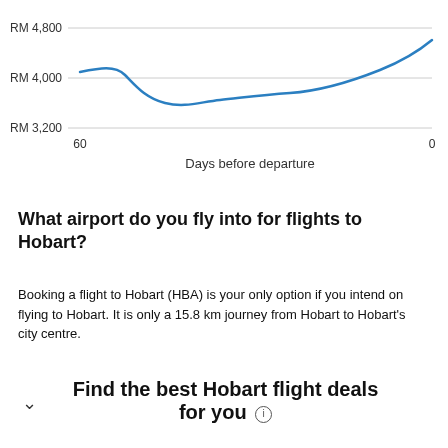[Figure (continuous-plot): Line chart showing flight price trend (RM) vs days before departure. Y-axis: RM 3,200 to RM 4,800. X-axis: 60 to 0 days before departure. The line starts around RM 4,100 at 60 days, dips to around RM 3,600 near 40 days, then gradually rises to above RM 4,500 near 0 days. X-axis label: 'Days before departure'.]
What airport do you fly into for flights to Hobart?
Booking a flight to Hobart (HBA) is your only option if you intend on flying to Hobart. It is only a 15.8 km journey from Hobart to Hobart's city centre.
Find the best Hobart flight deals for you